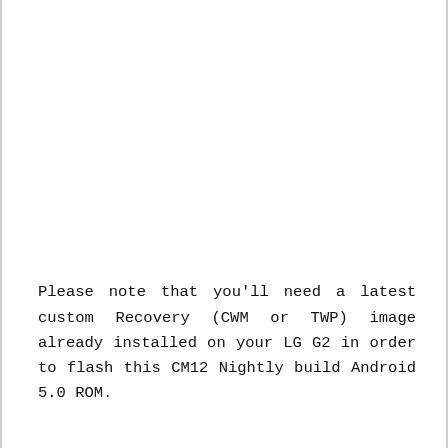Please note that you'll need a latest custom Recovery (CWM or TWP) image already installed on your LG G2 in order to flash this CM12 Nightly build Android 5.0 ROM.